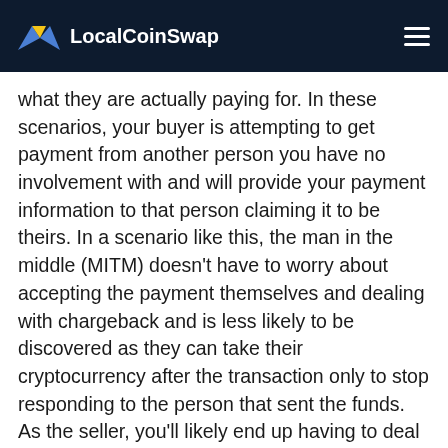LocalCoinSwap
what they are actually paying for. In these scenarios, your buyer is attempting to get payment from another person you have no involvement with and will provide your payment information to that person claiming it to be theirs. In a scenario like this, the man in the middle (MITM) doesn't have to worry about accepting the payment themselves and dealing with chargeback and is less likely to be discovered as they can take their cryptocurrency after the transaction only to stop responding to the person that sent the funds. As the seller, you'll likely end up having to deal with a chargeback or other potential issues if you are a victim of this sort of situation.
Ensure that the person you are speaking with is